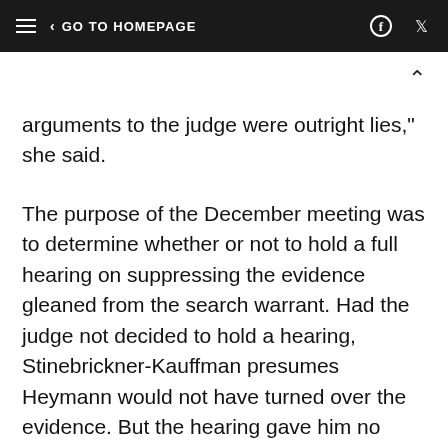≡ < GO TO HOMEPAGE
arguments to the judge were outright lies," she said.
The purpose of the December meeting was to determine whether or not to hold a full hearing on suppressing the evidence gleaned from the search warrant. Had the judge not decided to hold a hearing, Stinebrickner-Kauffman presumes Heymann would not have turned over the evidence. But the hearing gave him no choice, since it would have come up during testimony likely to be provided by the law enforcement official who wrote Heymann the